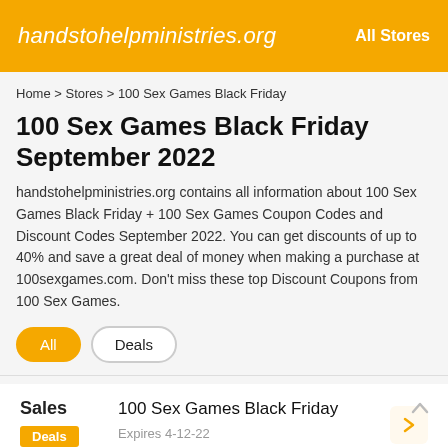handstohelpministries.org   All Stores
Home > Stores > 100 Sex Games Black Friday
100 Sex Games Black Friday September 2022
handstohelpministries.org contains all information about 100 Sex Games Black Friday + 100 Sex Games Coupon Codes and Discount Codes September 2022. You can get discounts of up to 40% and save a great deal of money when making a purchase at 100sexgames.com. Don't miss these top Discount Coupons from 100 Sex Games.
All   Deals
Sales
Deals
100 Sex Games Black Friday
Expires 4-12-22